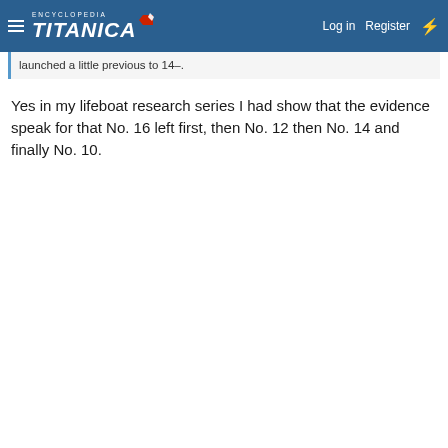Encyclopedia Titanica — Log in  Register
launched a little previous to 14–.
Yes in my lifeboat research series I had show that the evidence speak for that No. 16 left first, then No. 12 then No. 14 and finally No. 10.